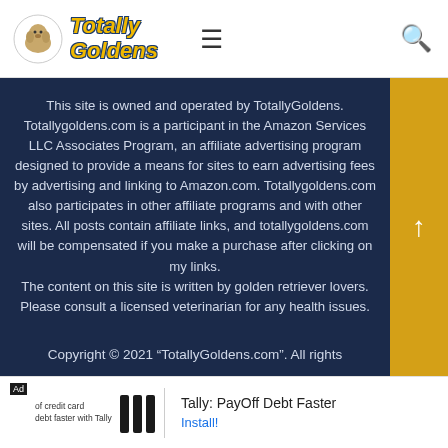Totally Goldens
This site is owned and operated by TotallyGoldens. Totallygoldens.com is a participant in the Amazon Services LLC Associates Program, an affiliate advertising program designed to provide a means for sites to earn advertising fees by advertising and linking to Amazon.com. Totallygoldens.com also participates in other affiliate programs and with other sites. All posts contain affiliate links, and totallygoldens.com will be compensated if you make a purchase after clicking on my links. The content on this site is written by golden retriever lovers. Please consult a licensed veterinarian for any health issues.
Copyright © 2021 "TotallyGoldens.com". All rights
Ad  Tally: PayOff Debt Faster  Install!